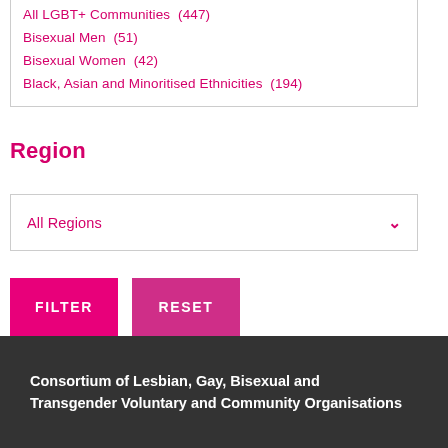All LGBT+ Communities (447)
Bisexual Men (51)
Bisexual Women (42)
Black, Asian and Minoritised Ethnicities (194)
Region
All Regions
FILTER
RESET
Consortium of Lesbian, Gay, Bisexual and Transgender Voluntary and Community Organisations